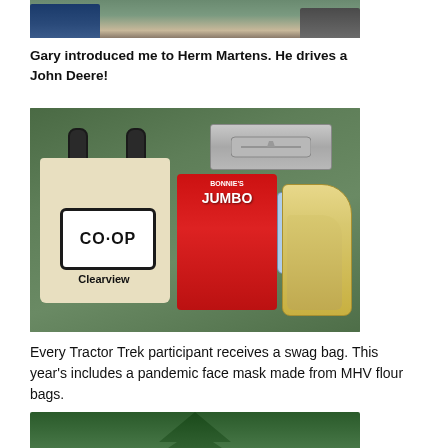[Figure (photo): Top portion of a photo showing two people standing outdoors, cropped at the bottom of the frame]
Gary introduced me to Herm Martens. He drives a John Deere!
[Figure (photo): A CO-OP Clearview branded tote bag lying on grass next to items: a face mask made from MHV flour bags, a red bag of Bonnie's Jumbo seeds, a blue water bottle, and a pair of work gloves]
Every Tractor Trek participant receives a swag bag. This year's includes a pandemic face mask made from MHV flour bags.
[Figure (photo): Bottom portion of a photo showing tree branches and foliage against a bright sky, partially visible at the bottom of the page]